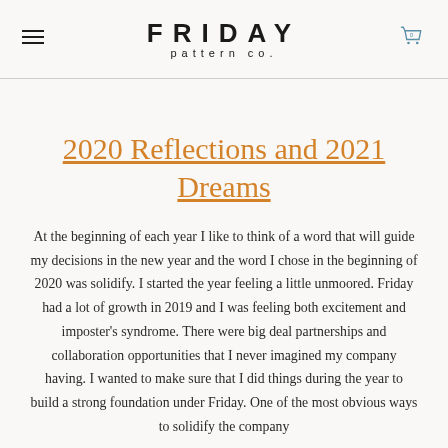FRIDAY pattern co.
2020 Reflections and 2021 Dreams
At the beginning of each year I like to think of a word that will guide my decisions in the new year and the word I chose in the beginning of 2020 was solidify. I started the year feeling a little unmoored. Friday had a lot of growth in 2019 and I was feeling both excitement and imposter's syndrome. There were big deal partnerships and collaboration opportunities that I never imagined my company having. I wanted to make sure that I did things during the year to build a strong foundation under Friday. One of the most obvious ways to solidify the company